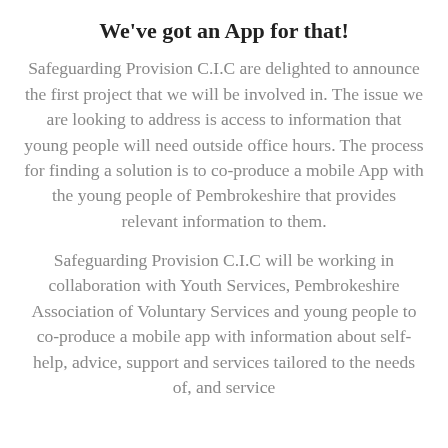We've got an App for that!
Safeguarding Provision C.I.C are delighted to announce the first project that we will be involved in. The issue we are looking to address is access to information that young people will need outside office hours. The process for finding a solution is to co-produce a mobile App with the young people of Pembrokeshire that provides relevant information to them.
Safeguarding Provision C.I.C will be working in collaboration with Youth Services, Pembrokeshire Association of Voluntary Services and young people to co-produce a mobile app with information about self- help, advice, support and services tailored to the needs of, and service